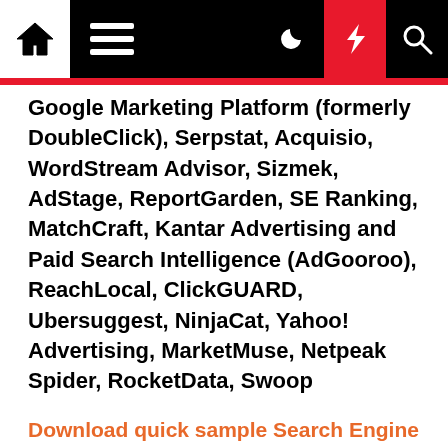Navigation bar with home, menu, dark mode, lightning, and search icons
Google Marketing Platform (formerly DoubleClick), Serpstat, Acquisio, WordStream Advisor, Sizmek, AdStage, ReportGarden, SE Ranking, MatchCraft, Kantar Advertising and Paid Search Intelligence (AdGooroo), ReachLocal, ClickGUARD, Ubersuggest, NinjaCat, Yahoo! Advertising, MarketMuse, Netpeak Spider, RocketData, Swoop
Download quick sample Search Engine Marketing Services report @ grandmarketanalytics.com/Request-For-Sample-Report?/Search-Engine-Marketing-Services&id=1327907
Search Engine Marketing Services Market Analysis by Types & Applications as followed:
By TypeCPT (Cost Per Time)CPA (cost-per-acquisition)CPC (cost-per-click)CPM (cost-per-thousand-